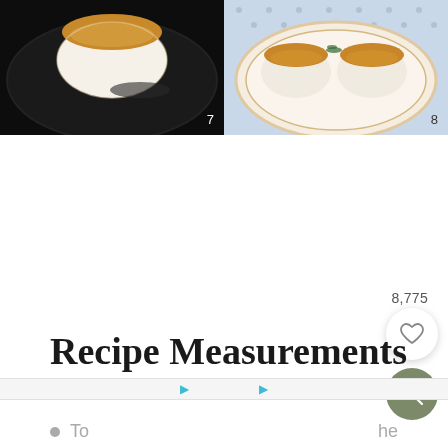[Figure (photo): Step 7: Seared scallop in a cast iron skillet on dark background]
[Figure (photo): Step 8: Seared scallops on a decorative plate with blue patterned tablecloth]
Recipe Measurements
To
he